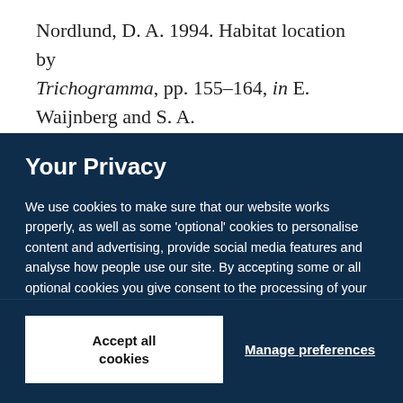Nordlund, D. A. 1994. Habitat location by Trichogramma, pp. 155–164, in E. Waijnberg and S. A. Hassan (eds.). Biological Control with Egg Parasitoids
Your Privacy
We use cookies to make sure that our website works properly, as well as some 'optional' cookies to personalise content and advertising, provide social media features and analyse how people use our site. By accepting some or all optional cookies you give consent to the processing of your personal data, including transfer to third parties, some in countries outside of the European Economic Area that do not offer the same data protection standards as the country where you live. You can decide which optional cookies to accept by clicking on 'Manage Settings', where you can also find more information about how your personal data is processed. Further information can be found in our privacy policy.
Accept all cookies
Manage preferences